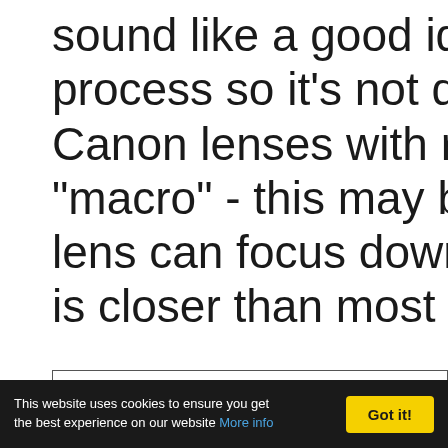sound like a good idea but you process so it's not quite as Canon lenses with ring-type "macro" - this may be stretch lens can focus down to 0.95m is closer than most lenses in th
[Figure (other): Empty bordered box, likely placeholder for an image]
This website uses cookies to ensure you get the best experience on our website More info | Got it!